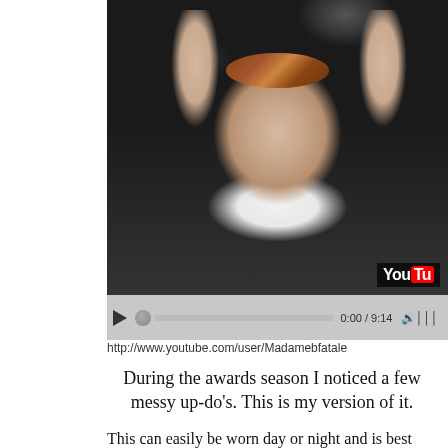[Figure (screenshot): YouTube video screenshot showing a person with arms raised above their head, wearing a leopard print headband and white top, with a dark background. YouTube video player controls visible with time 0:00 / 9:14.]
http://www.youtube.com/user/Madamebfatale
During the awards season I noticed a few messy up-do's. This is my version of it.
This can easily be worn day or night and is best achieved with dirty hair, (as with most up-do's). I would recommend  using a hairspray to finish, I just seem to be losing everything lately!
This style can be as neat or as messy as you would like and is a great hairstyle to try if you don't have much time or need to wash your hair